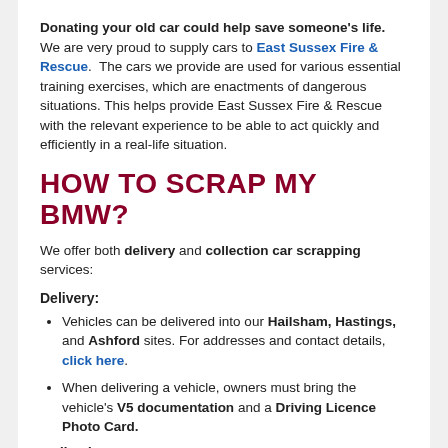Donating your old car could help save someone's life. We are very proud to supply cars to East Sussex Fire & Rescue. The cars we provide are used for various essential training exercises, which are enactments of dangerous situations. This helps provide East Sussex Fire & Rescue with the relevant experience to be able to act quickly and efficiently in a real-life situation.
HOW TO SCRAP MY BMW?
We offer both delivery and collection car scrapping services:
Delivery:
Vehicles can be delivered into our Hailsham, Hastings, and Ashford sites. For addresses and contact details, click here.
When delivering a vehicle, owners must bring the vehicle's V5 documentation and a Driving Licence Photo Card.
Collection: